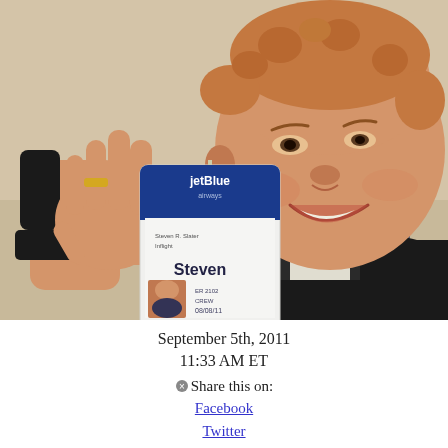[Figure (photo): A man smiling and holding up a JetBlue crew ID badge that reads 'Steven' and 'CREW'. He has short blonde/reddish hair and wears a dark jacket. The badge is white and blue with a small photo of the man on it.]
September 5th, 2011
11:33 AM ET
Share this on:
Facebook
Twitter